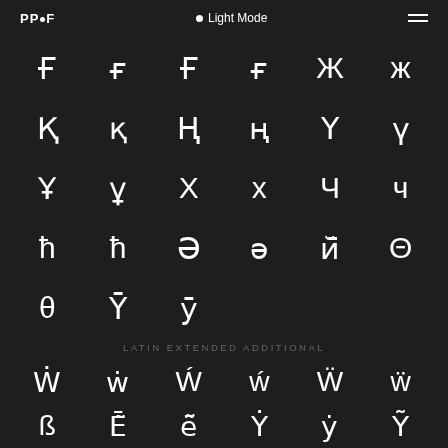PP•F  • Light Mode  ≡
[Figure (other): Grid of Unicode extended Cyrillic/Latin characters on dark background: Ғ ғ Ғ ғ Ж ж / Қ қ Ң ң Ү ү / Ұ ұ Х х Ч ч / ħ ħ Ə ə й̄ Θ / θ Ȳ ȳ]
LATIN EXTENDED ADDITIONAL
[Figure (other): Grid of Latin Extended Additional characters: Ẇ ẇ Ẃ ẃ Ẅ ẅ / ß Ē̃ ē̃ Ẏ ẏ Ỹ]